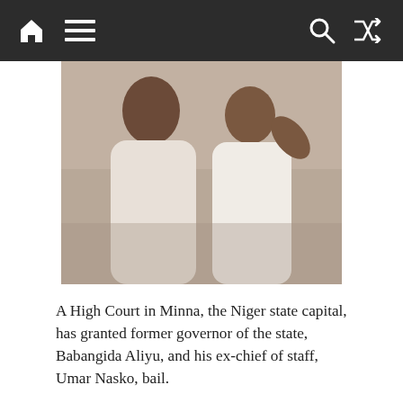Navigation bar with home, menu, search, and shuffle icons
[Figure (photo): Two men dressed in white traditional Nigerian attire seated together]
A High Court in Minna, the Niger state capital, has granted former governor of the state, Babangida Aliyu, and his ex-chief of staff, Umar Nasko, bail.
Both men had been remanded in prison by the court on Tuesday last week after the Economic and Financial Crimes Commission arraigned them on charges of corruption and fraud.
The former governor and Nasko are being tried